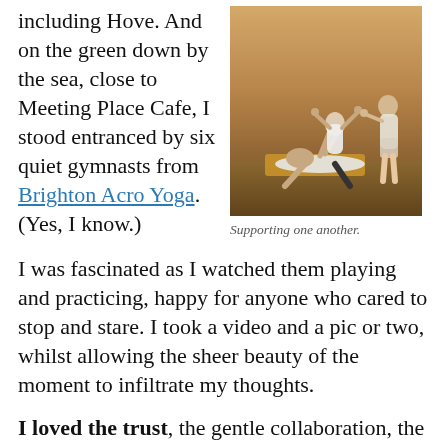including Hove. And on the green down by the sea, close to Meeting Place Cafe, I stood entranced by six quiet gymnasts from Brighton Acro Yoga. (Yes, I know.)
[Figure (photo): Two people practicing acro yoga outdoors on a mat on grass. One person is lying on their back with legs raised, supporting another person above them. A third person stands nearby spotting.]
Supporting one another.
I was fascinated as I watched them playing and practicing, happy for anyone who cared to stop and stare. I took a video and a pic or two, whilst allowing the sheer beauty of the moment to infiltrate my thoughts.
I loved the trust, the gentle collaboration, the humility of those kind enough to consider i...